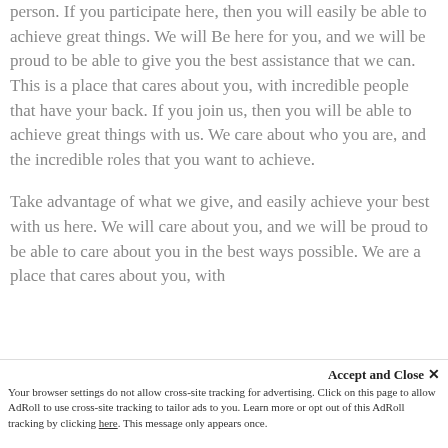person. If you participate here, then you will easily be able to achieve great things. We will Be here for you, and we will be proud to be able to give you the best assistance that we can. This is a place that cares about you, with incredible people that have your back. If you join us, then you will be able to achieve great things with us. We care about who you are, and the incredible roles that you want to achieve.

Take advantage of what we give, and easily achieve your best with us here. We will care about you, and we will be proud to be able to care about you in the best ways possible. We are a place that cares about you, with
Accept and Close ✕
Your browser settings do not allow cross-site tracking for advertising. Click on this page to allow AdRoll to use cross-site tracking to tailor ads to you. Learn more or opt out of this AdRoll tracking by clicking here. This message only appears once.